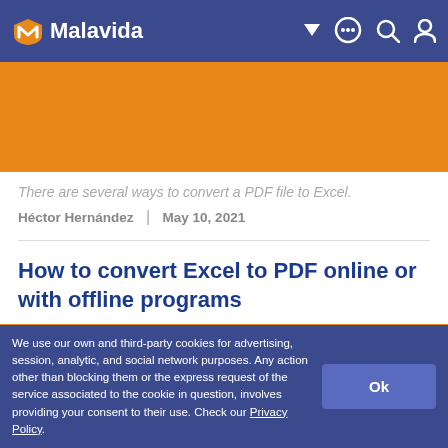Malavida
[Figure (other): Orange advertisement banner (top)]
There are several ways to convert a PDF file to Excel.
Héctor Hernández | May 10, 2021
How to convert Excel to PDF online or with offline programs
[Figure (other): Orange advertisement banner (bottom)]
We use our own and third-party cookies for advertising, session, analytic, and social network purposes. Any action other than blocking them or the express request of the service associated to the cookie in question, involves providing your consent to their use. Check our Privacy Policy.